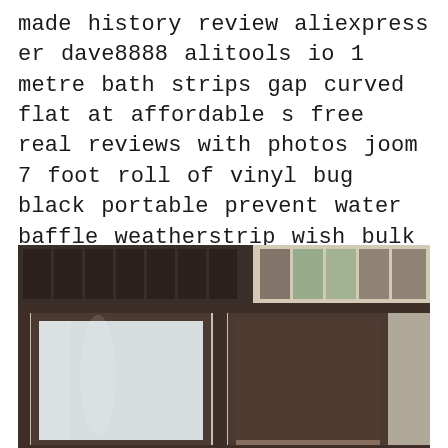made history review aliexpress er dave8888 alitools io 1 metre bath strips gap curved flat at affordable s free real reviews with photos joom 7 foot roll of vinyl bug black portable prevent water baffle weatherstrip wish bulk automatic comparison patio frost king weatherization whole waterproof plastic room china hardware in com select the best threshold ramp your
[Figure (photo): Photograph of a large sliding glass door with dark brown/bronze metal framing set into a building exterior. The door has frosted/opaque glass panels and a transom window above with multiple panes. The door on the right side is partially open.]